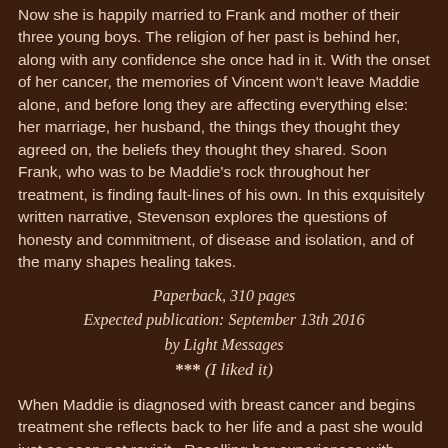Now she is happily married to Frank and mother of their three young boys. The religion of her past is behind her, along with any confidence she once had in it. With the onset of her cancer, the memories of Vincent won't leave Maddie alone, and before long they are affecting everything else: her marriage, her husband, the things they thought they agreed on, the beliefs they thought they shared. Soon Frank, who was to be Maddie's rock throughout her treatment, is finding fault-lines of his own. In this exquisitely written narrative, Stevenson explores the questions of honesty and commitment, of disease and isolation, and of the many shapes healing takes.
Paperback, 310 pages
Expected publication: September 13th 2016
by Light Messages
*** (I liked it)
When Maddie is diagnosed with breast cancer and begins treatment she reflects back to her life and a past she would just as soon not revisit.  Recalling her experiences with organized religion and her friendship with Vincent and